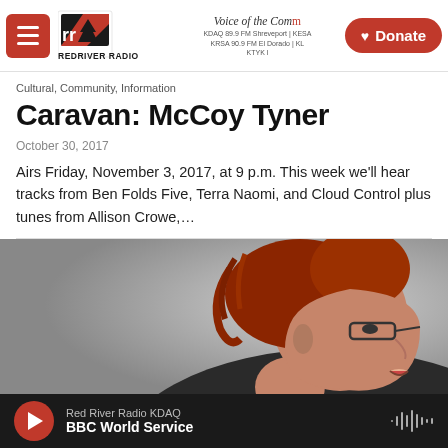Red River Radio — Voice of the Community — Donate
Cultural, Community, Information
Caravan: McCoy Tyner
October 30, 2017
Airs Friday, November 3, 2017, at 9 p.m. This week we'll hear tracks from Ben Folds Five, Terra Naomi, and Cloud Control plus tunes from Allison Crowe,…
[Figure (photo): Side profile photo of a red-haired woman wearing glasses, mouth open as if singing or speaking, against a grey background]
Red River Radio KDAQ — BBC World Service